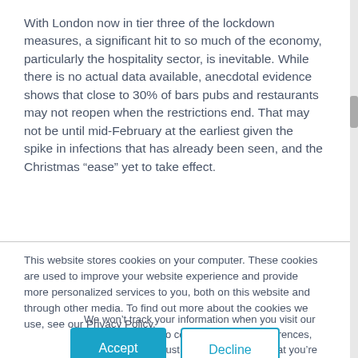With London now in tier three of the lockdown measures, a significant hit to so much of the economy, particularly the hospitality sector, is inevitable. While there is no actual data available, anecdotal evidence shows that close to 30% of bars pubs and restaurants may not reopen when the restrictions end. That may not be until mid-February at the earliest given the spike in infections that has already been seen, and the Christmas “ease” yet to take effect.
This website stores cookies on your computer. These cookies are used to improve your website experience and provide more personalized services to you, both on this website and through other media. To find out more about the cookies we use, see our Privacy Policy.
We won’t track your information when you visit our site. But in order to comply with your preferences, we’ll have to use just one tiny cookie so that you’re not asked to make this choice again.